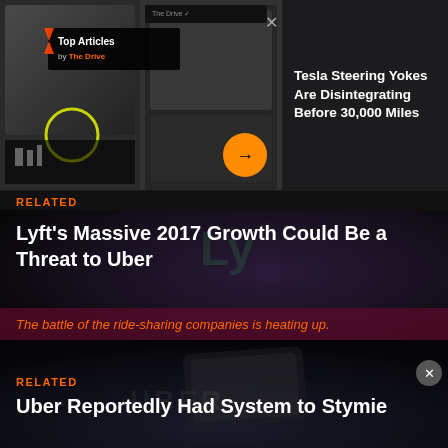[Figure (screenshot): Screenshot of The Drive Top Articles widget showing Tesla steering yoke images and social media post overlay with navigation arrows]
Tesla Steering Yokes Are Disintegrating Before 30,000 Miles
RELATED
Lyft's Massive 2017 Growth Could Be a Threat to Uber
The battle of the ride-sharing companies is heating up.
RELATED
Uber Reportedly Had System to Stymie